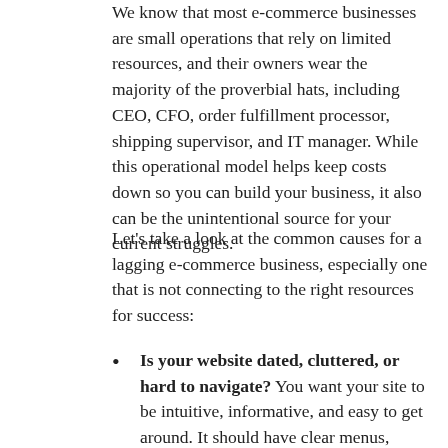We know that most e-commerce businesses are small operations that rely on limited resources, and their owners wear the majority of the proverbial hats, including CEO, CFO, order fulfillment processor, shipping supervisor, and IT manager. While this operational model helps keep costs down so you can build your business, it also can be the unintentional source for your current struggles.
Let's take a look at the common causes for a lagging e-commerce business, especially one that is not connecting to the right resources for success:
Is your website dated, cluttered, or hard to navigate? You want your site to be intuitive, informative, and easy to get around. It should have clear menus, plenty of product pictures, and you should have a place for FAQs, as well as